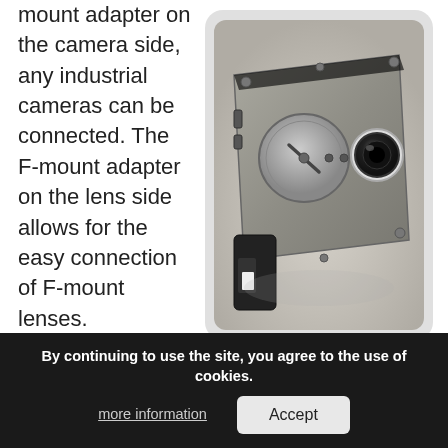mount adapter on the camera side, any industrial cameras can be connected. The F-mount adapter on the lens side allows for the easy connection of F-mount lenses.
[Figure (photo): Photo of a filter wheel device — a flat metallic rectangular box with a circular filter wheel and a camera lens attached, shown at an angle on a light surface.]
Filter wheel
10 filter positions
Diameter of the filters: 32mm, or 25mm using an adapter
Camera
By continuing to use the site, you agree to the use of cookies.
more information
Accept